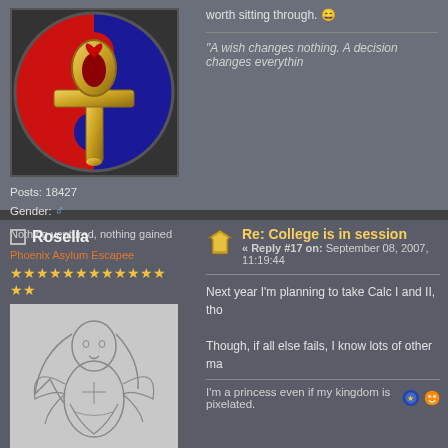[Figure (illustration): Circular ankh symbol with red and blue yin-yang background and gold ankh cross with heart at top]
Posts: 18427
Gender: [male symbol]
Nothing ventured, nothing gained
worth sitting through. [smiley]
"A wish changes nothing. A decision changes everythin
Rosella
Phoenix Asylum Escapee
★★★★★★★★★★★★
[Figure (illustration): Pencil sketch of a fairy/princess girl with long hair and wings]
Re: College is in session
« Reply #17 on: September 08, 2007, 11:19:44
Next year I'm planning to take Calc I and II, tho
Though, if all else fails, I know lots of other ma
I'm a princess even if my kingdom is pixelated.